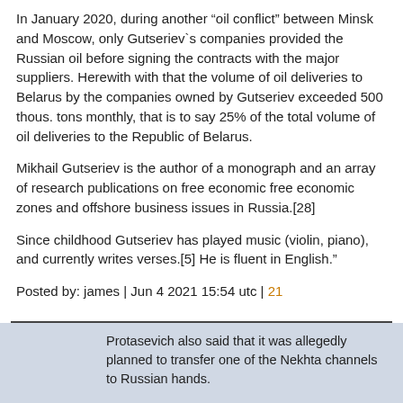In January 2020, during another “oil conflict” between Minsk and Moscow, only Gutserievʼs companies provided the Russian oil before signing the contracts with the major suppliers. Herewith with that the volume of oil deliveries to Belarus by the companies owned by Gutseriev exceeded 500 thous. tons monthly, that is to say 25% of the total volume of oil deliveries to the Republic of Belarus.
Mikhail Gutseriev is the author of a monograph and an array of research publications on free economic free economic zones and offshore business issues in Russia.[28]
Since childhood Gutseriev has played music (violin, piano), and currently writes verses.[5] He is fluent in English.”
Posted by: james | Jun 4 2021 15:54 utc | 21
Protasevich also said that it was allegedly planned to transfer one of the Nekhta channels to Russian hands.
This is either an incorrect translation or an incorrect summary. Protasevich said there were plans to switch the main Nekhta (NEXTA) channel to “Russian agenda”, i.e. to start posting anti-Russian/anti-Putin stuff, as the channel had lots of subscribers from Russia. He was strongly against the plan, as Nekhta was one of the main media assets of the Belarusian regime changers. Later discussion